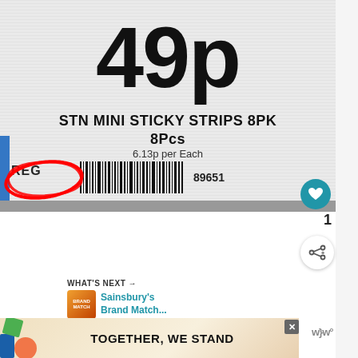[Figure (photo): A retail price tag/shelf label showing '49p' in large bold text, with product name 'STN MINI STICKY STRIPS 8PK 8Pcs', '6.13p per Each', a barcode with number 89651, and 'REG' label circled in red handwriting.]
1
WHAT'S NEXT → Sainsbury's Brand Match...
[Figure (photo): Advertisement banner showing 'TOGETHER, WE STAND' text with colorful decorative shapes]